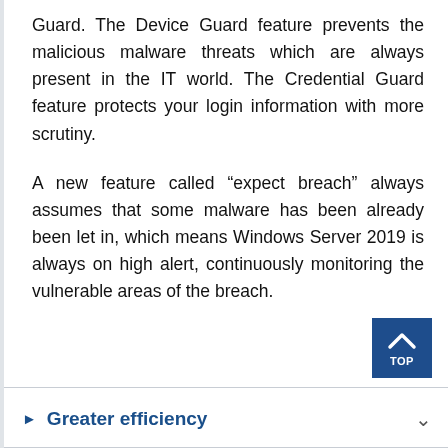Guard. The Device Guard feature prevents the malicious malware threats which are always present in the IT world. The Credential Guard feature protects your login information with more scrutiny.
A new feature called “expect breach” always assumes that some malware has been already been let in, which means Windows Server 2019 is always on high alert, continuously monitoring the vulnerable areas of the breach.
Greater efficiency